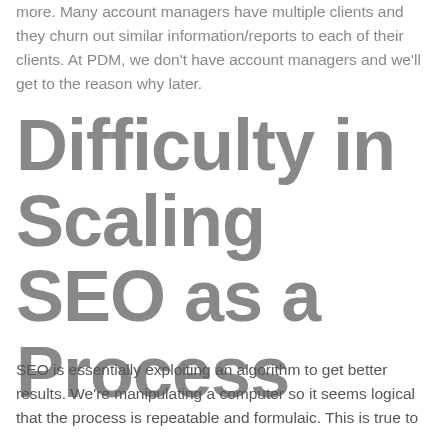more. Many account managers have multiple clients and they churn out similar information/reports to each of their clients. At PDM, we don't have account managers and we'll get to the reason why later.
Difficulty in Scaling SEO as a Process
SEO is essentially exploiting an algorithm to get better results. We're manipulating a computer so it seems logical that the process is repeatable and formulaic. This is true to